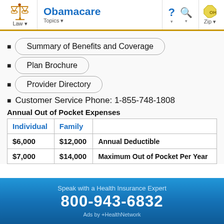Obamacare | Law | Topics | Zip
Summary of Benefits and Coverage
Plan Brochure
Provider Directory
Customer Service Phone: 1-855-748-1808
Annual Out of Pocket Expenses
| Individual | Family |  |
| --- | --- | --- |
| $6,000 | $12,000 | Annual Deductible |
| $7,000 | $14,000 | Maximum Out of Pocket Per Year |
Speak with a Health Insurance Expert
800-943-6832
Ads by +HealthNetwork